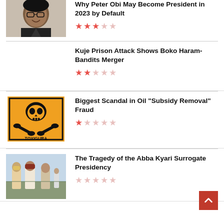[Figure (photo): Portrait photo of Peter Obi smiling, wearing glasses and a dark top]
Why Peter Obi May Become President in 2023 by Default
Rating: 3 out of 5 stars
Kuje Prison Attack Shows Boko Haram-Bandits Merger
Rating: 2 out of 5 stars
[Figure (illustration): Orange TOXIGURA warning sign with skull and crossbones]
Biggest Scandal in Oil “Subsidy Removal” Fraud
Rating: 1 out of 5 stars
[Figure (photo): Photo of political figures outdoors]
The Tragedy of the Abba Kyari Surrogate Presidency
Rating: 0 out of 5 stars